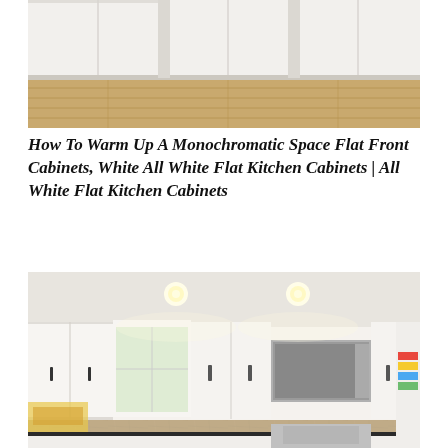[Figure (photo): Top-down partial view of white flat-front kitchen cabinets with light wood flooring visible, cropped at top.]
How To Warm Up A Monochromatic Space Flat Front Cabinets, White All White Flat Kitchen Cabinets | All White Flat Kitchen Cabinets
[Figure (photo): White shaker-style kitchen cabinets with black hardware, granite backsplash, stainless steel range and microwave, yellow flowers on counter, recessed lighting.]